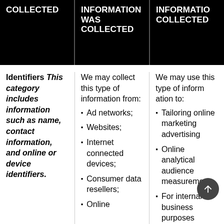| COLLECTED | INFORMATION WAS COLLECTED | INFORMATION COLLECTED |
| --- | --- | --- |
| Identifiers This category includes information such as name, contact information, and online or device identifiers. | We may collect this type of information from: Ad networks; Websites; Internet connected devices; Consumer data resellers; Online | We may use this type of information to: Tailoring online marketing advertising; Online analytics audience measurement; For internal business purposes |